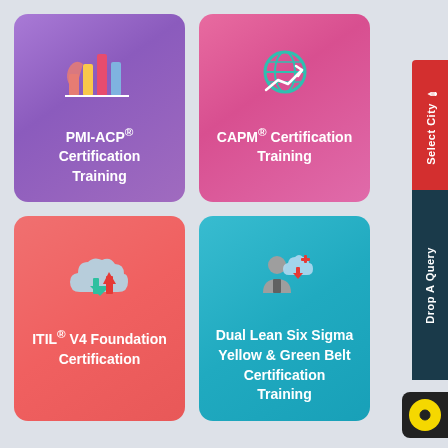[Figure (illustration): PMI-ACP certification card with bar chart icon on purple background]
PMI-ACP® Certification Training
[Figure (illustration): CAPM certification card with line chart icon on pink background]
CAPM® Certification Training
[Figure (illustration): ITIL V4 Foundation certification card with cloud/arrow icon on coral background]
ITIL® V4 Foundation Certification
[Figure (illustration): Dual Lean Six Sigma certification card with person/cloud icon on teal background]
Dual Lean Six Sigma Yellow & Green Belt Certification Training